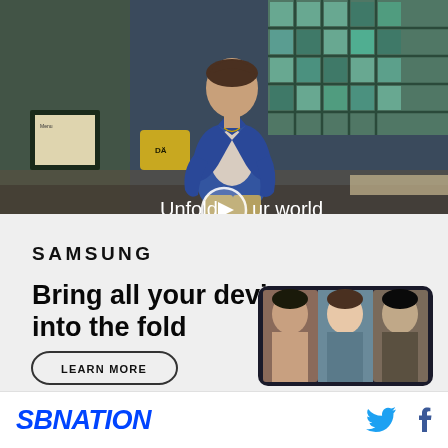[Figure (photo): Samsung video advertisement showing a young man walking in a cafeteria setting with a play button overlay and the text 'Unfold your world']
[Figure (photo): Samsung advertisement panel with logo, headline 'Bring all your devices into the fold', a LEARN MORE button, and a phone image showing people]
SBNATION